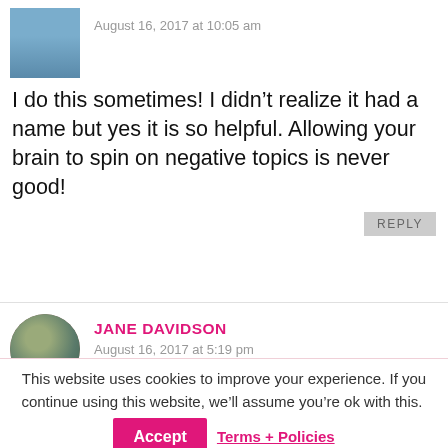August 16, 2017 at 10:05 am
I do this sometimes! I didn't realize it had a name but yes it is so helpful. Allowing your brain to spin on negative topics is never good!
REPLY
JANE DAVIDSON
August 16, 2017 at 5:19 pm
I am SO bad at this! Thank you so much for the list of simple ways to be mindful and in the moment.
REPLY
FREE Fit Mom Starter Guide!
This website uses cookies to improve your experience. If you continue using this website, we'll assume you're ok with this.
Accept
Terms + Policies